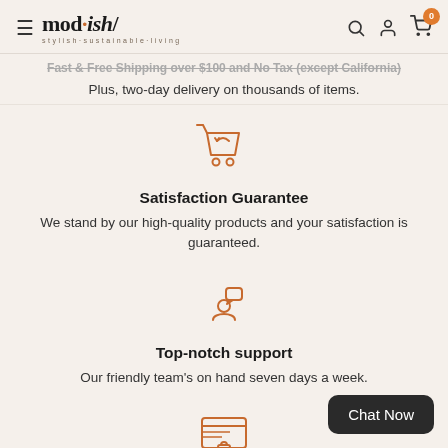mod·ish/ stylish·sustainable·living
Fast & Free Shipping over $100 and No Tax (except California)
Plus, two-day delivery on thousands of items.
[Figure (illustration): Shopping cart with return arrow icon in orange outline style]
Satisfaction Guarantee
We stand by our high-quality products and your satisfaction is guaranteed.
[Figure (illustration): Person with speech bubble / chat icon in orange outline style]
Top-notch support
Our friendly team's on hand seven days a week.
[Figure (illustration): Secure payment / credit card with lock icon in orange outline style]
Chat Now